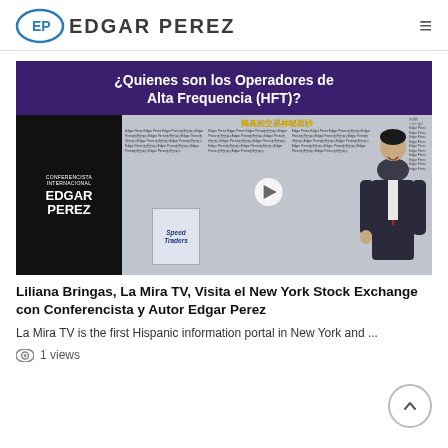Edgar Perez
[Figure (screenshot): Video thumbnail with purple banner text '¿Quienes son los Operadores de Alta Frequencia (HFT)?' and an image showing Edgar Perez as an international speaker alongside Chinese newspaper articles and a book titled Speed Traders.]
Liliana Bringas, La Mira TV, Visita el New York Stock Exchange con Conferencista y Autor Edgar Perez
La Mira TV is the first Hispanic information portal in New York and ...
1 views